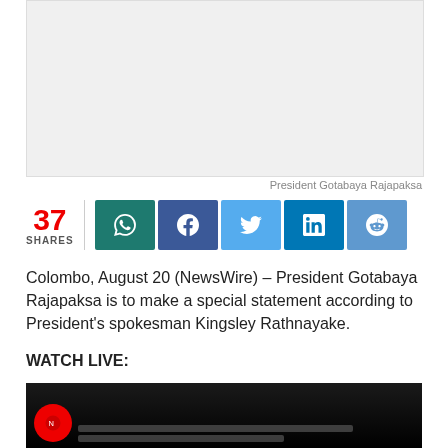[Figure (photo): Light grey placeholder image area for President Gotabaya Rajapaksa photo]
President Gotabaya Rajapaksa
37 SHARES
Colombo, August 20 (NewsWire) – President Gotabaya Rajapaksa is to make a special statement according to President's spokesman Kingsley Rathnayake.
WATCH LIVE:
[Figure (screenshot): Video player thumbnail with dark background and logo]